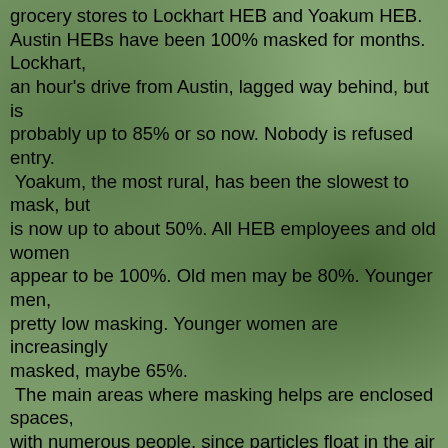grocery stores to Lockhart HEB and Yoakum HEB. Austin HEBs have been 100% masked for months. Lockhart, an hour's drive from Austin, lagged way behind, but is probably up to 85% or so now. Nobody is refused entry. Yoakum, the most rural, has been the slowest to mask, but is now up to about 50%. All HEB employees and old women appear to be 100%. Old men may be 80%. Younger men, pretty low masking. Younger women are increasingly masked, maybe 65%. The main areas where masking helps are enclosed spaces, with numerous people, since particles float in the air for a half hour after being invisibly exhaled, especially when speaking. That would be classrooms, of course. I'm glad the bars and strip clubs are shut, even if the Governor is getting sued. It's sure appropriate to be unmasked when walking and biking in suburban neighborhoods. Most people give space graciously, in my experience. A few are hypersensitive, wear masks, and rush to the opposite side of the street complaining loudly at those not wearing. It's understandable. Risk-of-exposure gradients are a subtle concept for most people. Young people appearing fairly carefree is a false...